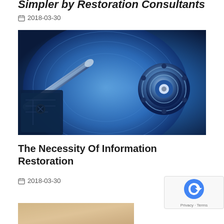Simpler by Restoration Consultants
2018-03-30
[Figure (photo): Close-up photo of an open hard disk drive with blue lighting, showing the read/write arm, magnetic platter, and spindle motor]
The Necessity Of Information Restoration
2018-03-30
[Figure (photo): Partial bottom image, cropped — appears to show a person, only top portion visible]